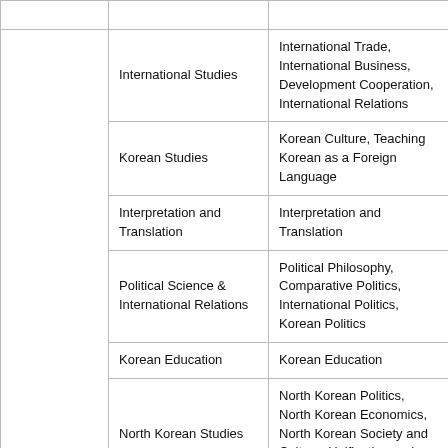| College/School | Department/Division | Major |
| --- | --- | --- |
|  | International Studies | International Trade, International Business, Development Cooperation, International Relations |
|  | Korean Studies | Korean Culture, Teaching Korean as a Foreign Language |
|  | Interpretation and Translation | Interpretation and Translation |
|  | Political Science & International Relations | Political Philosophy, Comparative Politics, International Politics, Korean Politics |
|  | Korean Education | Korean Education |
|  | North Korean Studies | North Korean Politics, North Korean Economics, North Korean Society and Culture, Unification and Peace |
| Liberal & Social | English Language & | Literature, Linguistics |